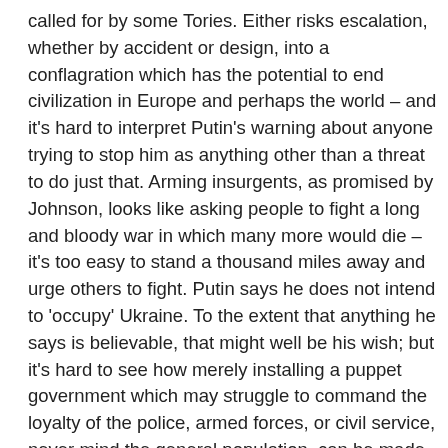called for by some Tories. Either risks escalation, whether by accident or design, into a conflagration which has the potential to end civilization in Europe and perhaps the world – and it's hard to interpret Putin's warning about anyone trying to stop him as anything other than a threat to do just that. Arming insurgents, as promised by Johnson, looks like asking people to fight a long and bloody war in which many more would die – it's too easy to stand a thousand miles away and urge others to fight. Putin says he does not intend to 'occupy' Ukraine. To the extent that anything he says is believable, that might well be his wish; but it's hard to see how merely installing a puppet government which may struggle to command the loyalty of the police, armed forces, or civil service, never mind the general population, can be made to work without an occupying force to impose its will.